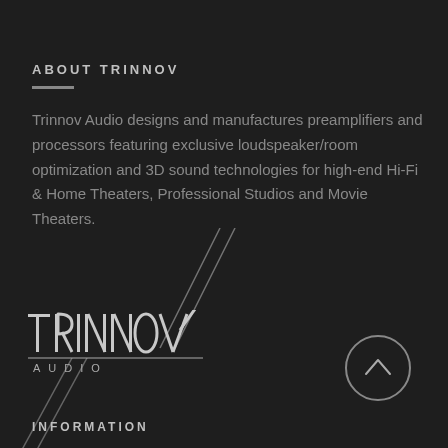ABOUT TRINNOV
Trinnov Audio designs and manufactures preamplifiers and processors featuring exclusive loudspeaker/room optimization and 3D sound technologies for high-end Hi-Fi & Home Theaters, Professional Studios and Movie Theaters.
[Figure (logo): Trinnov Audio logo with stylized text and diagonal decorative lines]
INFORMATION